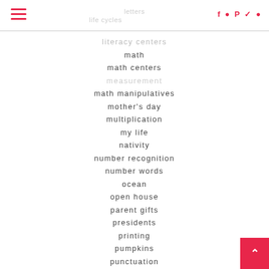letters | life cycles | literacy centers
math
math centers
math manipulatives
mother's day
multiplication
my life
nativity
number recognition
number words
ocean
open house
parent gifts
presidents
printing
pumpkins
punctuation
reading words
recycling
red ribbon week
report cards